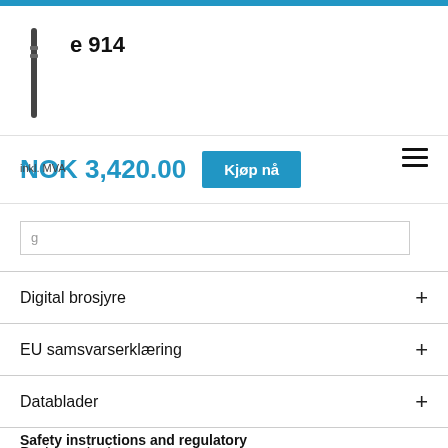e 914
NOK 3,420.00 inkl. MVA
Kjøp nå
Digital brosjyre
EU samsvarserklæring
Datablader
Bruksanvisning
Safety instructions and regulatory